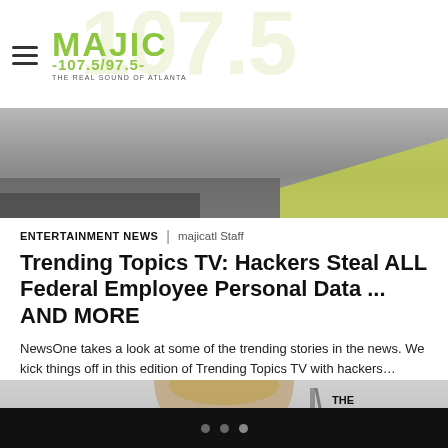MAJIC 107.5/97.5 THE REAL SOUND OF ATLANTA
[Figure (photo): Hero image at top of article, grayscale/muted with a yellow-green accent at lower right]
ENTERTAINMENT NEWS | majicatl Staff
Trending Topics TV: Hackers Steal ALL Federal Employee Personal Data ... AND MORE
NewsOne takes a look at some of the trending stories in the news. We kick things off in this edition of Trending Topics TV with hackers…
[Figure (photo): Woman with blonde/brown hair at a formal event with Madison Square company and Forbes backdrops visible]
• • •